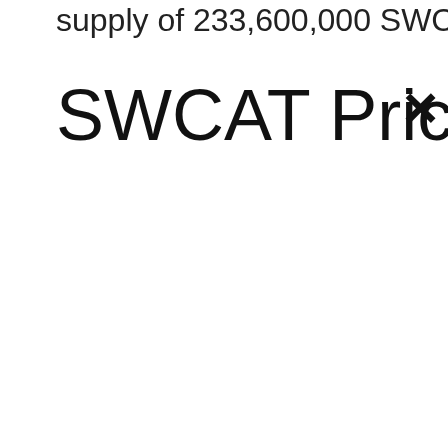supply of 233,600,000 SWCAT coins.
SWCAT Price Live
×